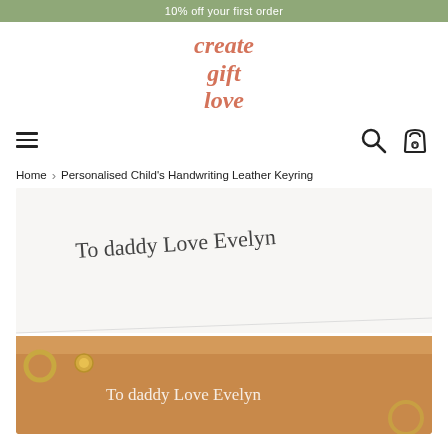10% off your first order
[Figure (logo): Create Gift Love logo in coral/orange serif italic text]
[Figure (infographic): Navigation bar with hamburger menu icon on left, search and cart icons on right]
Home > Personalised Child's Handwriting Leather Keyring
[Figure (photo): Photo of a personalised leather keyring with child's handwriting 'To daddy Love Evelyn' shown alongside the original handwritten note on paper]